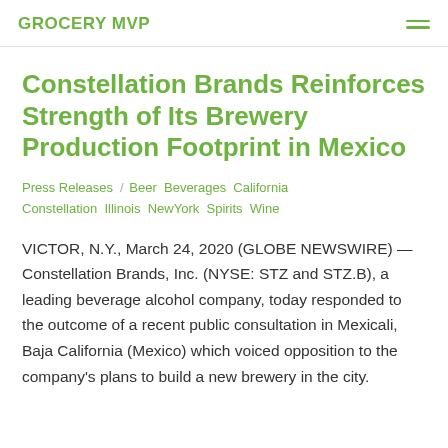GROCERY MVP
Constellation Brands Reinforces Strength of Its Brewery Production Footprint in Mexico
Press Releases / Beer Beverages California Constellation Illinois NewYork Spirits Wine
VICTOR, N.Y., March 24, 2020 (GLOBE NEWSWIRE) — Constellation Brands, Inc. (NYSE: STZ and STZ.B), a leading beverage alcohol company, today responded to the outcome of a recent public consultation in Mexicali, Baja California (Mexico) which voiced opposition to the company's plans to build a new brewery in the city.